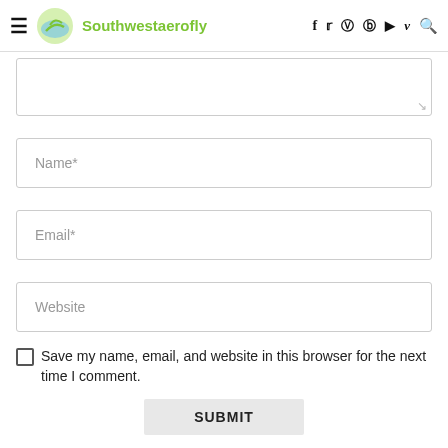≡ Southwestaerofly — social icons: f, twitter, instagram, pinterest, youtube, vimeo, search
[Figure (other): Textarea form field (comment box, partially visible, with resize handle)]
Name*
Email*
Website
Save my name, email, and website in this browser for the next time I comment.
SUBMIT